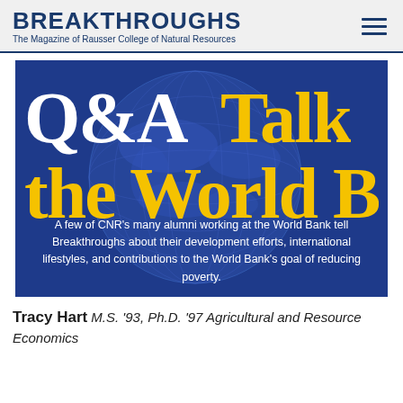BREAKTHROUGHS
The Magazine of Rausser College of Natural Resources
[Figure (illustration): Hero image with dark blue globe background showing text: 'Q&A Talk the World B' in large serif font (white and yellow), with subtitle text: 'A few of CNR’s many alumni working at the World Bank tell Breakthroughs about their development efforts, international lifestyles, and contributions to the World Bank’s goal of reducing poverty.']
Tracy Hart M.S. ’93, Ph.D. ’97 Agricultural and Resource Economics